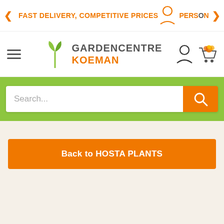FAST DELIVERY, COMPETITIVE PRICES | PERSON...
[Figure (logo): Garden Centre Koeman logo with green plant icon, hamburger menu, user icon and shopping cart]
[Figure (screenshot): Search bar with green background and orange search button]
Back to HOSTA PLANTS